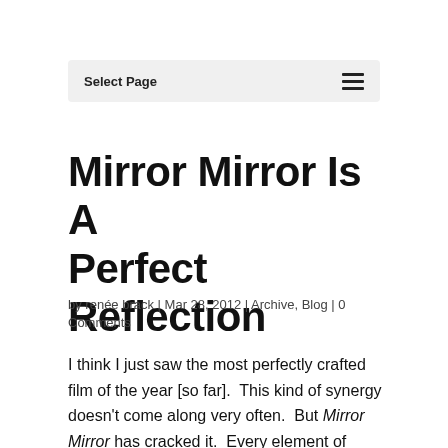Select Page
Mirror Mirror Is A Perfect Reflection
by renée brack | Mar 28, 2012 | Archive, Blog | 0 Comments
I think I just saw the most perfectly crafted film of the year [so far].  This kind of synergy doesn't come along very often.  But Mirror Mirror has cracked it.  Every element of filmmaking is in sync and the resulting